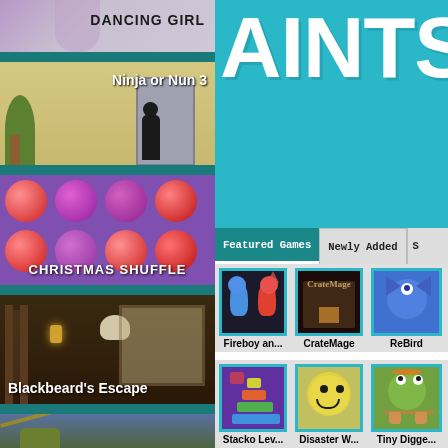[Figure (screenshot): Gaming website screenshot showing left column with game thumbnails (Dancing Girl, Ninja or Nun 3, Christmas Shuffle, Blackbeard's Escape, Dead Hungry) and right column with teal header showing 'AINTS' text, Featured Games/Newly Added tabs, and game thumbnails grid (Fireboy an..., CrateMage, ReBird, Stacko Lev..., Disaster W..., Tiny Digge...)]